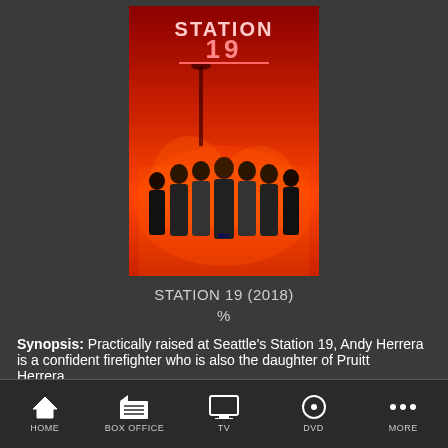[Figure (photo): Station 19 TV show poster with cast of firefighters on red/orange background with ABC logo]
STATION 19 (2018)
%
Synopsis: Practically raised at Seattle's Station 19, Andy Herrera is a confident firefighter who is also the daughter of Pruitt Herrera,... [More]
Starring: Jaina Lee Ortiz, Jason George, Boris Kodjoe, Grey Damon
HOME  BOX OFFICE  TV  DVD  MORE